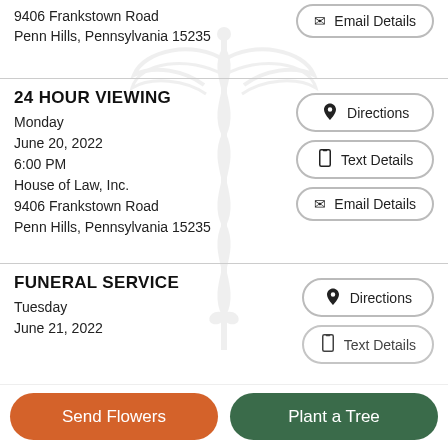9406 Frankstown Road
Penn Hills, Pennsylvania 15235
Email Details
24 HOUR VIEWING
Monday
June 20, 2022
6:00 PM
House of Law, Inc.
9406 Frankstown Road
Penn Hills, Pennsylvania 15235
Directions
Text Details
Email Details
FUNERAL SERVICE
Tuesday
June 21, 2022
Directions
Text Details
Send Flowers
Plant a Tree